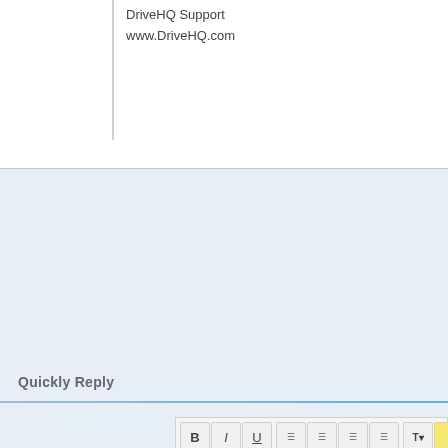DriveHQ Support
www.DriveHQ.com
Quickly Reply
[Figure (screenshot): Text editor toolbar with Bold, Italic, Underline, alignment and color buttons, with an editor area showing 'Please' text]